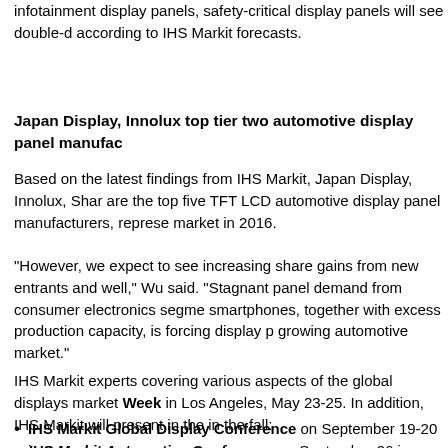infotainment display panels, safety-critical display panels will see double-d according to IHS Markit forecasts.
Japan Display, Innolux top tier two automotive display panel manufac
Based on the latest findings from IHS Markit, Japan Display, Innolux, Shar are the top five TFT LCD automotive display panel manufacturers, represe market in 2016.
"However, we expect to see increasing share gains from new entrants and well," Wu said. "Stagnant panel demand from consumer electronics segme smartphones, together with excess production capacity, is forcing display p growing automotive market."
IHS Markit experts covering various aspects of the global displays market Week in Los Angeles, May 23-25. In addition, IHS Markit will present in the in the fall:
IHS Markit Global Display Conference on September 19-20 in Sa
IHS Markit Automotive Conference on September 26 in Detroit M